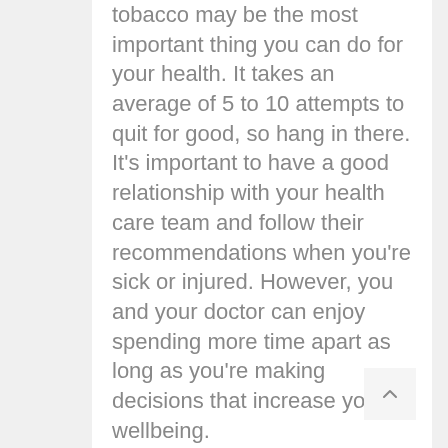tobacco may be the most important thing you can do for your health. It takes an average of 5 to 10 attempts to quit for good, so hang in there. It's important to have a good relationship with your health care team and follow their recommendations when you're sick or injured. However, you and your doctor can enjoy spending more time apart as long as you're making decisions that increase your wellbeing.